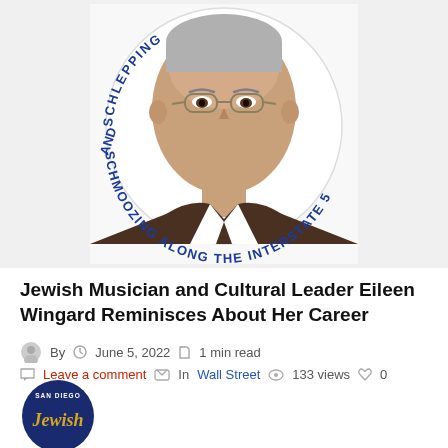[Figure (illustration): Circular logo/illustration showing an elderly man's face in the center of a circle, with curved text around it reading 'SCHLEPPING AND SCHMOOZING ALONG THE INTERSTATE 5' in blue uppercase letters]
Jewish Musician and Cultural Leader Eileen Wingard Reminisces About Her Career
By  June 5, 2022  1 min read  Leave a comment  In Wall Street  133 views  0
[Figure (logo): San Diego Jewish logo badge, circular, dark blue with gold text, partially visible at bottom left]